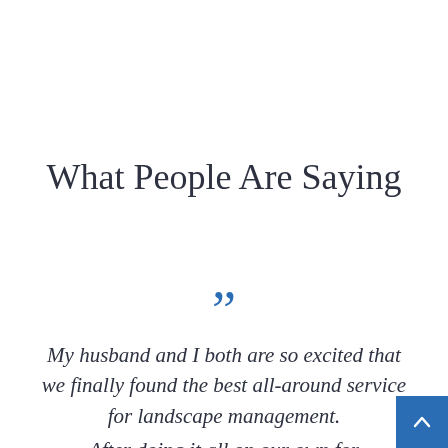What People Are Saying
““
My husband and I both are so excited that we finally found the best all-around service for landscape management. After doing it all on our own for